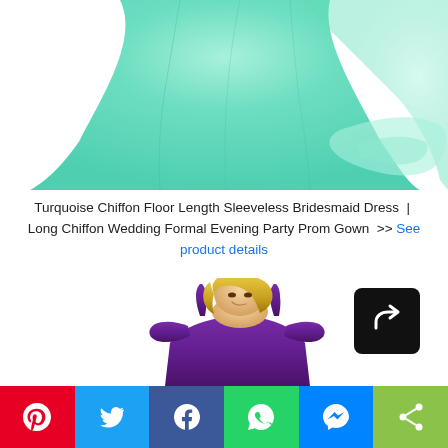[Figure (photo): Top portion of a turquoise/mint chiffon floor-length sleeveless bridesmaid dress shown against white background]
Turquoise Chiffon Floor Length Sleeveless Bridesmaid Dress | Long Chiffon Wedding Formal Evening Party Prom Gown >> See product details
[Figure (photo): Blonde woman wearing a purple cold-shoulder bridesmaid dress with spaghetti straps, shown from chest up, with a share icon overlay]
[Figure (infographic): Social sharing bar with Pinterest, Twitter, Facebook, WhatsApp, Messenger, and generic share buttons]